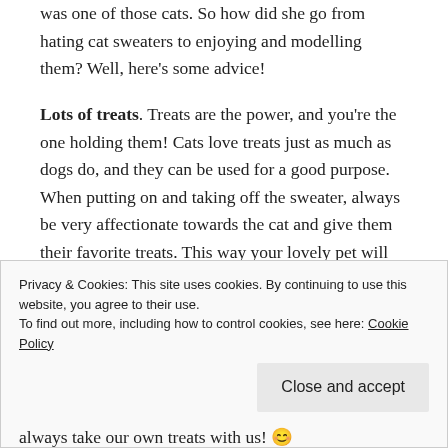was one of those cats. So how did she go from hating cat sweaters to enjoying and modelling them? Well, here's some advice!
Lots of treats. Treats are the power, and you're the one holding them! Cats love treats just as much as dogs do, and they can be used for a good purpose. When putting on and taking off the sweater, always be very affectionate towards the cat and give them their favorite treats. This way your lovely pet will associate wearing clothes with something positive, which is exactly what you want. A little bit off topic – still to this day I can't
Privacy & Cookies: This site uses cookies. By continuing to use this website, you agree to their use.
To find out more, including how to control cookies, see here: Cookie Policy
always take our own treats with us! 😊